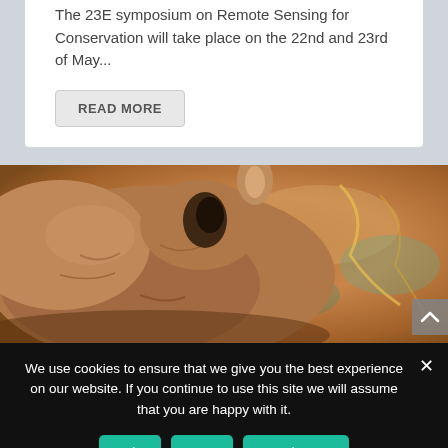The 23E symposium on Remote Sensing for Conservation will take place on the 22nd and 23rd of May...
READ MORE
[Figure (photo): Close-up photograph of a rhinoceros head/snout overlaid or composited with an aerial/satellite map view showing terrain in orange and teal tones]
We use cookies to ensure that we give you the best experience on our website. If you continue to use this site we will assume that you are happy with it.
Ok
No
Read more